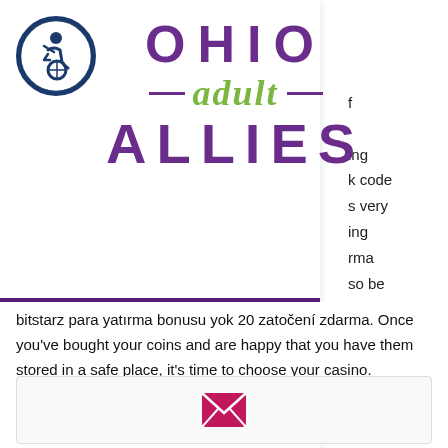[Figure (logo): Ohio Adult Allies logo with accessibility icon circle and purple/green text]
Developing, Inspiring, and Empowering Youth Leaders
bitstarz para yatırma bonusu yok 20 zatočení zdarma. Once you've bought your coins and are happy that you have them stored in a safe place, it's time to choose your casino.
[Figure (other): Email envelope icon button]